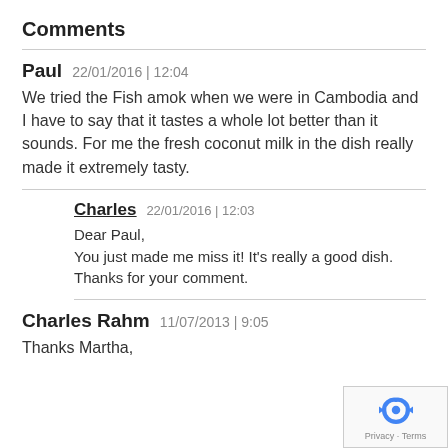Comments
Paul  22/01/2016 | 12:04
We tried the Fish amok when we were in Cambodia and I have to say that it tastes a whole lot better than it sounds. For me the fresh coconut milk in the dish really made it extremely tasty.
Charles  22/01/2016 | 12:03
Dear Paul,
You just made me miss it! It's really a good dish. Thanks for your comment.
Charles Rahm  11/07/2013 | 9:05
Thanks Martha,